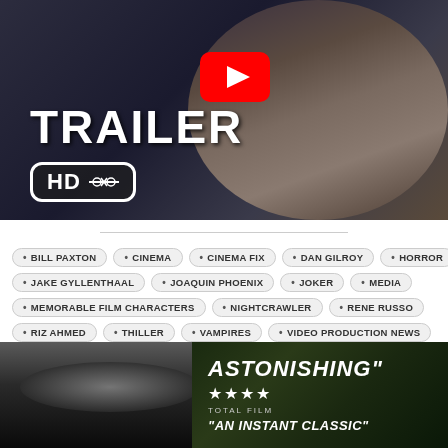[Figure (screenshot): Movie trailer thumbnail showing a man in suit with YouTube play button overlay, 'TRAILER' text and 'HD' badge with film strip scissors icon]
BILL PAXTON
CINEMA
CINEMA FIX
DAN GILROY
HORROR
JAKE GYLLENTHAAL
JOAQUIN PHOENIX
JOKER
MEDIA
MEMORABLE FILM CHARACTERS
NIGHTCRAWLER
RENE RUSSO
RIZ AHMED
THILLER
VAMPIRES
VIDEO PRODUCTION NEWS
[Figure (photo): Bottom image showing close-up of eye on left side, and dark green background on right with text: ASTONISHING" **** TOTAL FILM "AN INSTANT CLASSIC"]